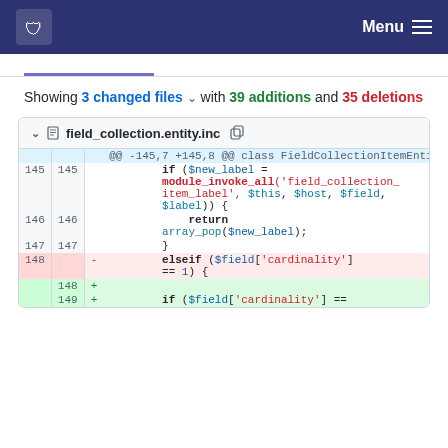Menu
Showing 3 changed files with 39 additions and 35 deletions
[Figure (screenshot): Code diff view for field_collection.entity.inc showing lines 145-149 with deletions and additions]
field_collection.entity.inc